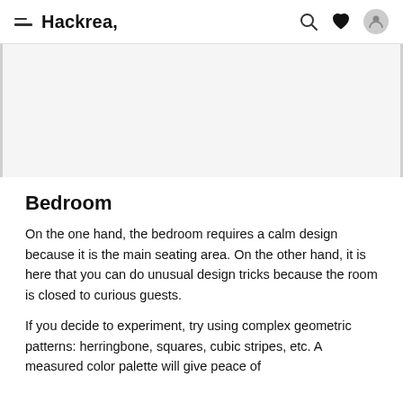Hackrea,
[Figure (photo): Image placeholder area, light gray background with side borders]
Bedroom
On the one hand, the bedroom requires a calm design because it is the main seating area. On the other hand, it is here that you can do unusual design tricks because the room is closed to curious guests.
If you decide to experiment, try using complex geometric patterns: herringbone, squares, cubic stripes, etc. A measured color palette will give peace of